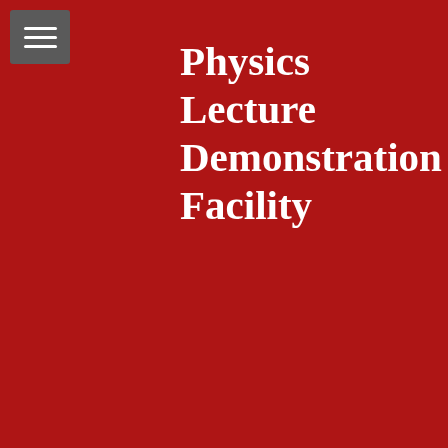[Figure (screenshot): Red header banner with hamburger menu icon in gray box at top left]
Physics Lecture Demonstration Facility
Search...
A Brief Look At Refraction - Question of the Week 9/22-9/26
Created: Friday, 26 September 2014 00:00